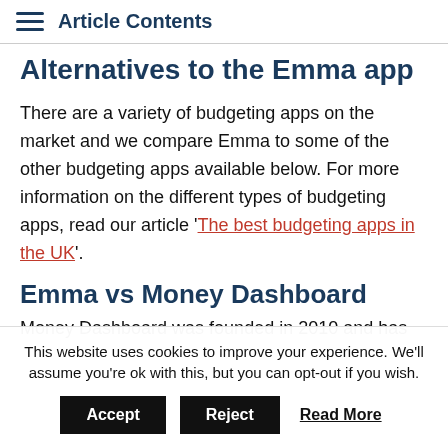Article Contents
Alternatives to the Emma app
There are a variety of budgeting apps on the market and we compare Emma to some of the other budgeting apps available below. For more information on the different types of budgeting apps, read our article 'The best budgeting apps in the UK'.
Emma vs Money Dashboard
Money Dashboard was founded in 2010 and has...
This website uses cookies to improve your experience. We'll assume you're ok with this, but you can opt-out if you wish.